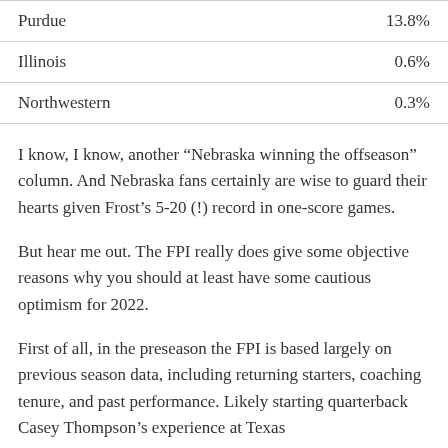| Purdue | 13.8% |
| Illinois | 0.6% |
| Northwestern | 0.3% |
I know, I know, another “Nebraska winning the offseason” column. And Nebraska fans certainly are wise to guard their hearts given Frost’s 5-20 (!) record in one-score games.
But hear me out. The FPI really does give some objective reasons why you should at least have some cautious optimism for 2022.
First of all, in the preseason the FPI is based largely on previous season data, including returning starters, coaching tenure, and past performance. Likely starting quarterback Casey Thompson’s experience at Texas